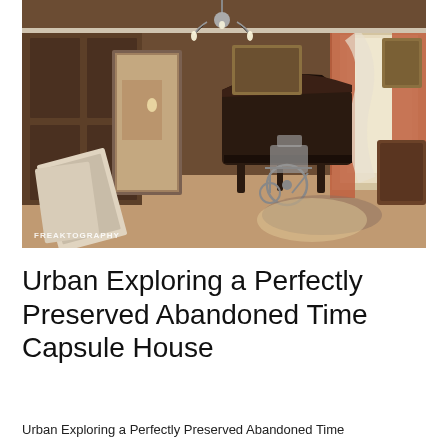[Figure (photo): Interior of an abandoned house showing a dark wood-paneled room with a grand piano, a wheelchair, vintage framed pictures leaning against the wall, antique furniture, orange curtains by a bright window, and a chandelier. Watermark reads FREAKTOGRAPHY in the bottom-left corner.]
Urban Exploring a Perfectly Preserved Abandoned Time Capsule House
Urban Exploring a Perfectly Preserved Abandoned Time